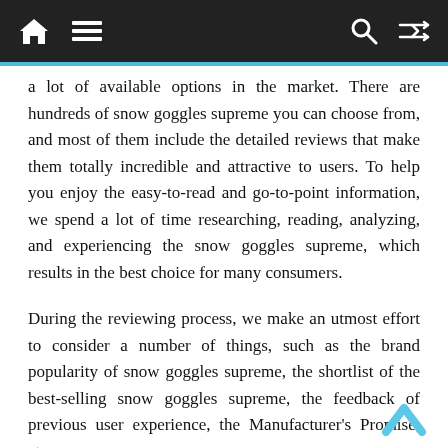[Navigation bar with home, menu, search, and shuffle icons]
a lot of available options in the market. There are hundreds of snow goggles supreme you can choose from, and most of them include the detailed reviews that make them totally incredible and attractive to users. To help you enjoy the easy-to-read and go-to-point information, we spend a lot of time researching, reading, analyzing, and experiencing the snow goggles supreme, which results in the best choice for many consumers.
During the reviewing process, we make an utmost effort to consider a number of things, such as the brand popularity of snow goggles supreme, the shortlist of the best-selling snow goggles supreme, the feedback of previous user experience, the Manufacturer's Promise, etc.